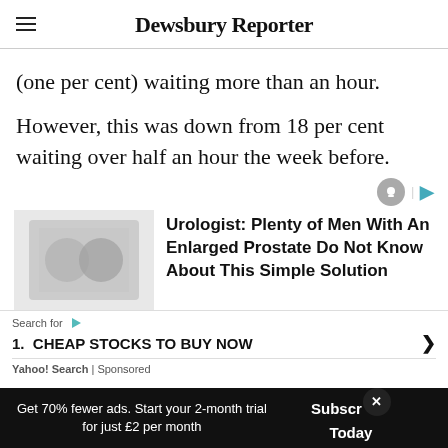Dewsbury Reporter
(one per cent) waiting more than an hour.
However, this was down from 18 per cent waiting over half an hour the week before.
[Figure (other): Advertisement: Urologist: Plenty of Men With An Enlarged Prostate Do Not Know About This Simple Solution]
[Figure (other): Yahoo Search sponsored ad: Search for 1. CHEAP STOCKS TO BUY NOW]
Get 70% fewer ads. Start your 2-month trial for just £2 per month
Subscribe Today